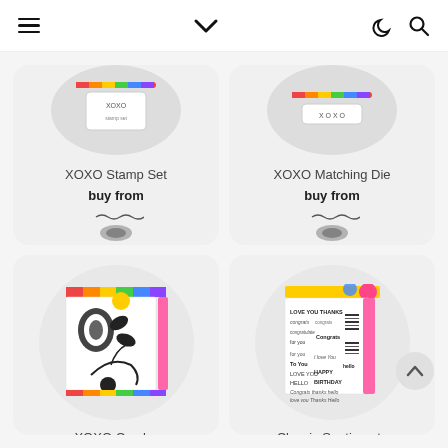Navigation bar with menu, dropdown, dark mode, and search icons
XOXO Stamp Set
buy from
[Figure (photo): Vendor logo for XOXO Stamp Set]
XOXO Matching Die
buy from
[Figure (photo): Vendor logo for XOXO Matching Die]
XOXO Combo
buy from
Classic Sentiments
buy from